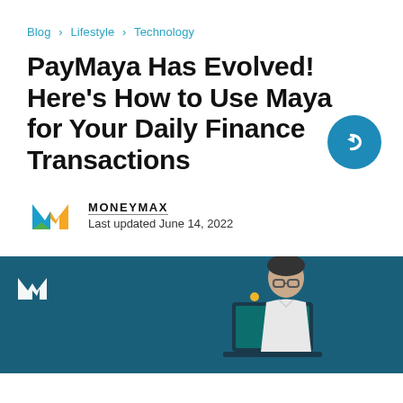Blog > Lifestyle > Technology
PayMaya Has Evolved! Here's How to Use Maya for Your Daily Finance Transactions
MONEYMAX
Last updated June 14, 2022
[Figure (photo): Dark teal banner with Moneymax M logo and a man working on a laptop]